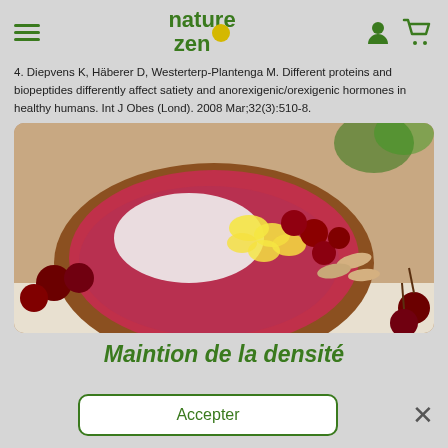nature zen [logo with yellow circle]
4. Diepvens K, Häberer D, Westerterp-Plantenga M. Different proteins and biopeptides differently affect satiety and anorexigenic/orexigenic hormones in healthy humans. Int J Obes (Lond). 2008 Mar;32(3):510-8.
[Figure (photo): A wooden bowl filled with a berry smoothie bowl topped with white powder (coconut or protein powder), banana slices, cherries, and sliced almonds, placed on a white surface with cherries in the background.]
Maintion de la densité
Accepter